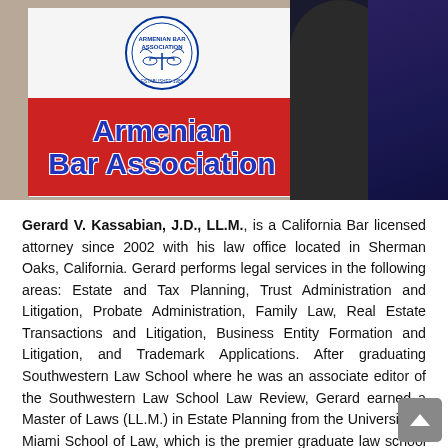[Figure (photo): Photo of an Armenian Bar Association sign board with a red banner reading 'Armenian Bar Association' in blue text, with the association's circular logo above it. A person in dark clothing is partially visible on the right side.]
Gerard V. Kassabian, J.D., LL.M., is a California Bar licensed attorney since 2002 with his law office located in Sherman Oaks, California. Gerard performs legal services in the following areas: Estate and Tax Planning, Trust Administration and Litigation, Probate Administration, Family Law, Real Estate Transactions and Litigation, Business Entity Formation and Litigation, and Trademark Applications. After graduating Southwestern Law School where he was an associate editor of the Southwestern Law School Law Review, Gerard earned a Master of Laws (LL.M.) in Estate Planning from the University of Miami School of Law, which is the premier graduate law school program in the country offering a master's degree in estate and tax planning